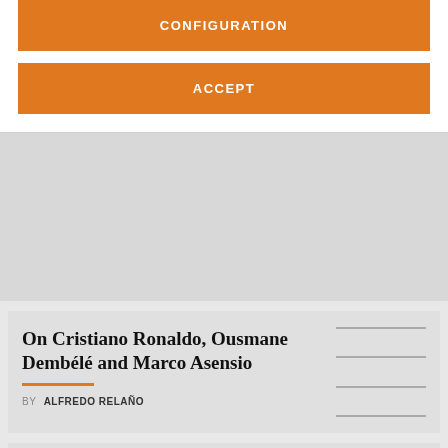[Figure (screenshot): Orange button labeled CONFIGURATION on white background]
[Figure (screenshot): Orange button labeled ACCEPT on white background]
[Figure (screenshot): Gray banner/advertisement placeholder area]
On Cristiano Ronaldo, Ousmane Dembélé and Marco Asensio
BY ALFREDO RELAÑO
Ancelotti outlines Real Madrid's summer transfer dealings